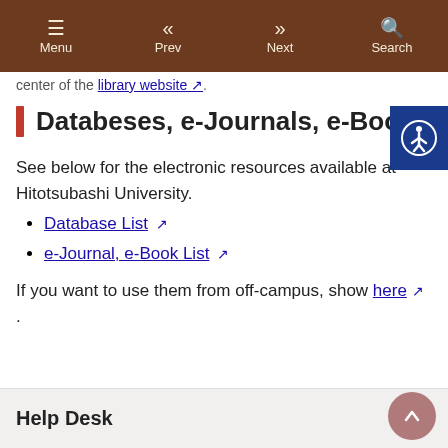Menu  Prev  Next  Search
center of the library website ↗.
Databeses, e-Journals, e-Books
See below for the electronic resources available at Hitotsubashi University.
Database List ↗
e-Journal, e-Book List ↗
If you want to use them from off-campus, show here ↗ .
Help Desk